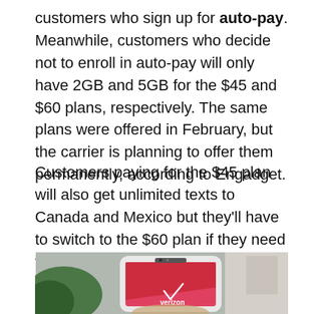customers who sign up for auto-pay. Meanwhile, customers who decide not to enroll in auto-pay will only have 2GB and 5GB for the $45 and $60 plans, respectively. The same plans were offered in February, but the carrier is planning to offer them permanently, according to Engadget.
Customers paying for the $45 plan will also get unlimited texts to Canada and Mexico but they'll have to switch to the $60 plan if they need to make unlimited calls from the United States to either of those countries.
[Figure (photo): A hand holding a white Samsung smartphone with a Verizon logo on a pink/red screen background, with greenery and a building visible behind.]